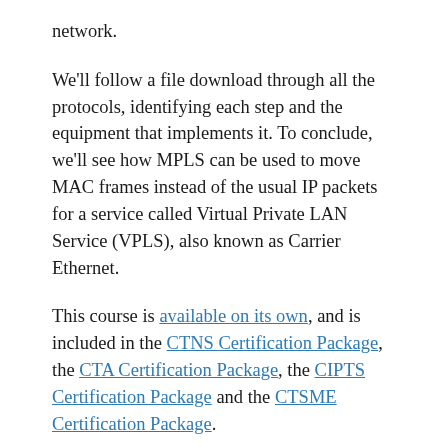network.
We'll follow a file download through all the protocols, identifying each step and the equipment that implements it. To conclude, we'll see how MPLS can be used to move MAC frames instead of the usual IP packets for a service called Virtual Private LAN Service (VPLS), also known as Carrier Ethernet.
This course is available on its own, and is included in the CTNS Certification Package, the CTA Certification Package, the CIPTS Certification Package and the CTSME Certification Package.